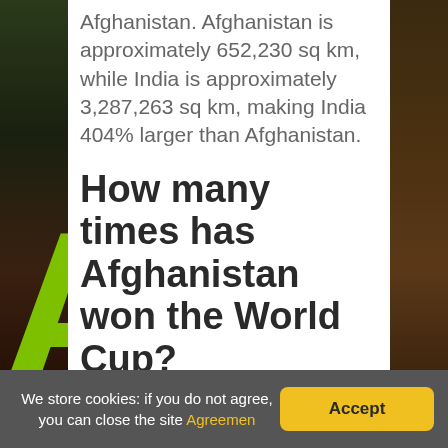Afghanistan. Afghanistan is approximately 652,230 sq km, while India is approximately 3,287,263 sq km, making India 404% larger than Afghanistan.
How many times has Afghanistan won the World Cup?
2019 World Cup Matches
We store cookies: if you do not agree, you can close the site Agreemen